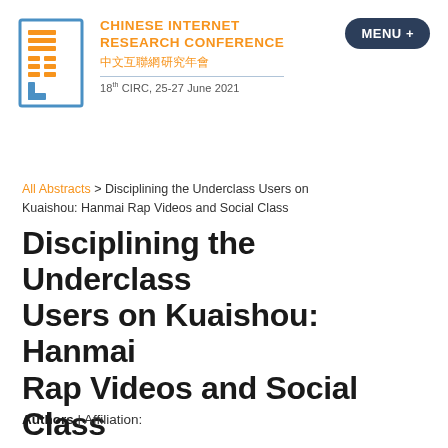[Figure (logo): Chinese Internet Research Conference logo with stylized graphic icon, orange text reading CHINESE INTERNET RESEARCH CONFERENCE, Chinese characters 中文互聯網研究年會, and date line 18th CIRC, 25-27 June 2021]
MENU +
All Abstracts > Disciplining the Underclass Users on Kuaishou: Hanmai Rap Videos and Social Class
Disciplining the Underclass Users on Kuaishou: Hanmai Rap Videos and Social Class
Authors | Affiliation: